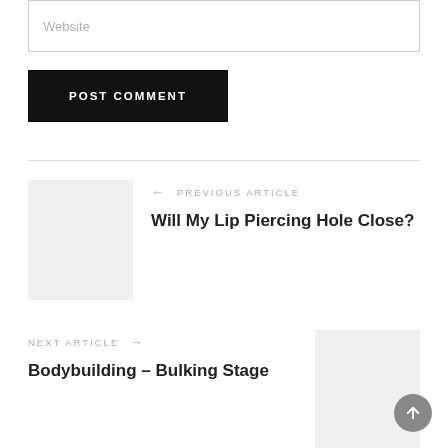Website
POST COMMENT
← PREVIOUS ARTICLE
Will My Lip Piercing Hole Close?
NEXT ARTICLE →
Bodybuilding – Bulking Stage